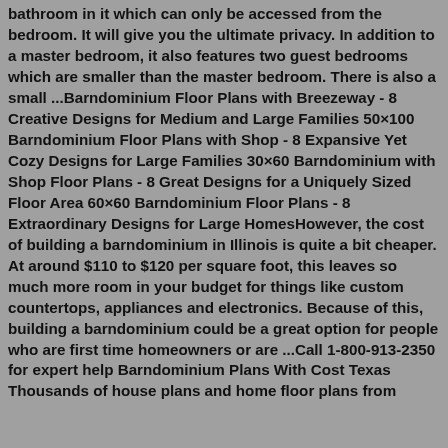bathroom in it which can only be accessed from the bedroom. It will give you the ultimate privacy. In addition to a master bedroom, it also features two guest bedrooms which are smaller than the master bedroom. There is also a small ...Barndominium Floor Plans with Breezeway - 8 Creative Designs for Medium and Large Families 50×100 Barndominium Floor Plans with Shop - 8 Expansive Yet Cozy Designs for Large Families 30×60 Barndominium with Shop Floor Plans - 8 Great Designs for a Uniquely Sized Floor Area 60×60 Barndominium Floor Plans - 8 Extraordinary Designs for Large HomesHowever, the cost of building a barndominium in Illinois is quite a bit cheaper. At around $110 to $120 per square foot, this leaves so much more room in your budget for things like custom countertops, appliances and electronics. Because of this, building a barndominium could be a great option for people who are first time homeowners or are ...Call 1-800-913-2350 for expert help Barndominium Plans With Cost Texas Thousands of house plans and home floor plans from